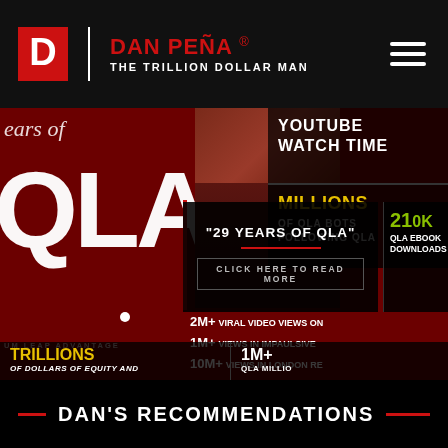DAN PEÑA® | THE TRILLION DOLLAR MAN
[Figure (screenshot): Dan Peña website screenshot showing promotional banner for '29 Years of QLA' with statistics: Millions of QLA bots following QLA, 210K QLA ebook downloads, 2M+ viral video views, 1M+ views in Impaulsive, 10M+ views in London, Trillions of dollars of equity, 1M+ QLA millionaires. YouTube watch time mentioned. Red and black color scheme with face photo.]
DAN'S RECOMMENDATIONS